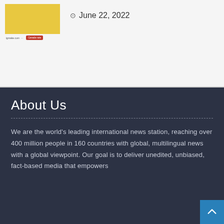[Figure (screenshot): Thumbnail image with yellow/gold background showing a small article preview with red button]
June 22, 2022
About Us
We are the world's leading international news station, reaching over 400 million people in 160 countries with global, multilingual news with a global viewpoint. Our goal is to deliver unedited, unbiased, fact-based media that empowers